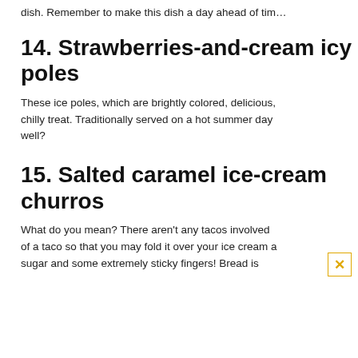dish. Remember to make this dish a day ahead of tim…
14. Strawberries-and-cream icy poles
These ice poles, which are brightly colored, delicious, chilly treat. Traditionally served on a hot summer day well?
15. Salted caramel ice-cream churros
What do you mean? There aren't any tacos involved of a taco so that you may fold it over your ice cream a sugar and some extremely sticky fingers! Bread is